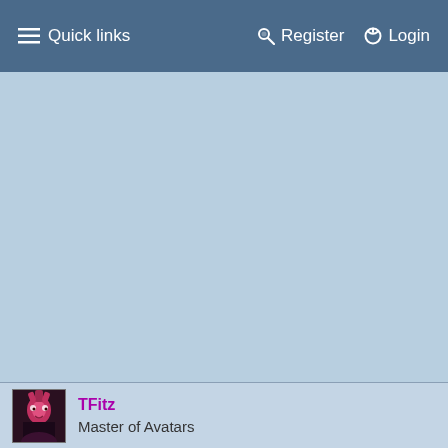≡ Quick links   Register   Login
[Figure (screenshot): Light blue empty main content area of a forum page]
TFitz
Master of Avatars